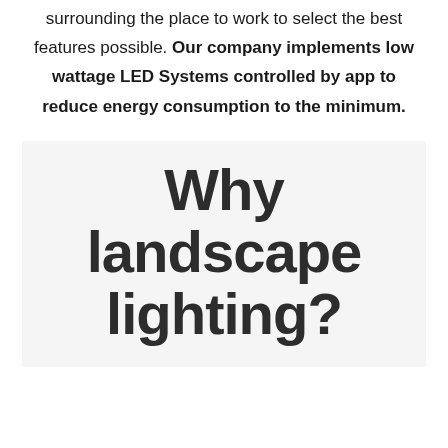surrounding the place to work to select the best features possible. Our company implements low wattage LED Systems controlled by app to reduce energy consumption to the minimum.
Why landscape lighting?